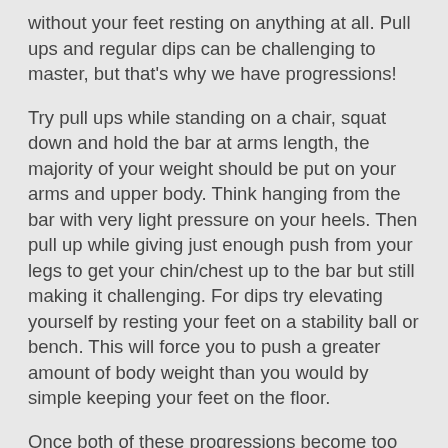without your feet resting on anything at all. Pull ups and regular dips can be challenging to master, but that's why we have progressions!
Try pull ups while standing on a chair, squat down and hold the bar at arms length, the majority of your weight should be put on your arms and upper body. Think hanging from the bar with very light pressure on your heels. Then pull up while giving just enough push from your legs to get your chin/chest up to the bar but still making it challenging. For dips try elevating yourself by resting your feet on a stability ball or bench. This will force you to push a greater amount of body weight than you would by simple keeping your feet on the floor.
Once both of these progressions become too easy, move on to working towards full pull ups and dips. Again, this may take time and other progressions may be needed to achieve a full pull up or dip (there will be plenty in the upcoming ebook "The Body Weight Solution"). Once you have both the pull up and dip down, practice them over and over again! Try all sorts of variations, add weight to both, try them